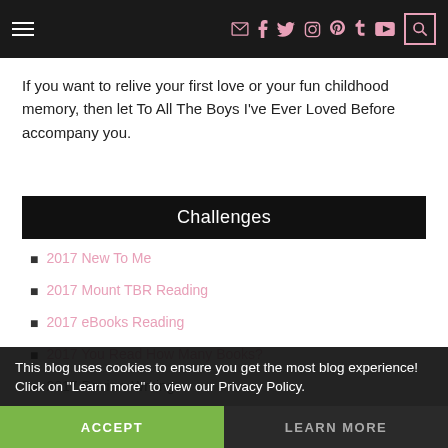Navigation bar with hamburger menu and social icons
If you want to relive your first love or your fun childhood memory, then let To All The Boys I've Ever Loved Before accompany you.
Challenges
2017 New To Me
2017 Mount TBR Reading
2017 eBooks Reading
2017 You Read How Many Books?
2017 Review Writing
This blog uses cookies to ensure you get the most blog experience! Click on "Learn more" to view our Privacy Policy.
ACCEPT | LEARN MORE